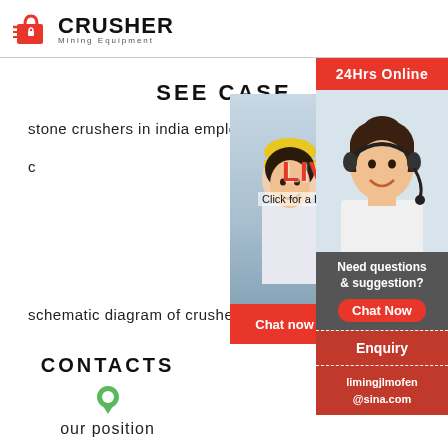[Figure (logo): Crusher Mining Equipment logo with red shopping bag icon and bold CRUSHER text]
SEE CASE
stone crushers in india employment
[Figure (photo): Live chat popup with workers wearing yellow hard hats, LIVE CHAT text in red, Click for a Free Consultation, Chat now and Chat later buttons]
schematic diagram of crusher indust
CONTACTS
[Figure (photo): Green location pin icon]
our position
[Figure (photo): Right sidebar with 24Hrs Online, headset customer service lady photo, Need questions & suggestion, Chat Now button, Enquiry, limingjlmofen@sina.com]